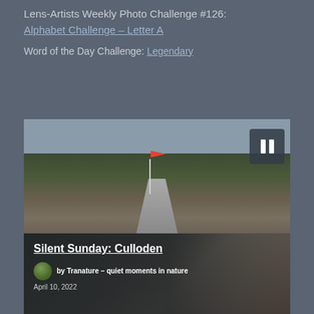Lens-Artists Weekly Photo Challenge #126: Alphabet Challenge – Letter A
Word of the Day Challenge: Legendary
[Figure (photo): Outdoor landscape photo showing a path leading through moorland with a red flag on a pole, trees in background, grey sky. A pause button (⏸) is overlaid in the upper right corner.]
[Figure (photo): Photo card showing a memorial or stone plaque at Culloden, with overlay text 'Silent Sunday: Culloden' and author credit 'by Tranature – quiet moments in nature', dated April 10, 2022.]
Silent Sunday: Culloden
by Tranature – quiet moments in nature
April 10, 2022